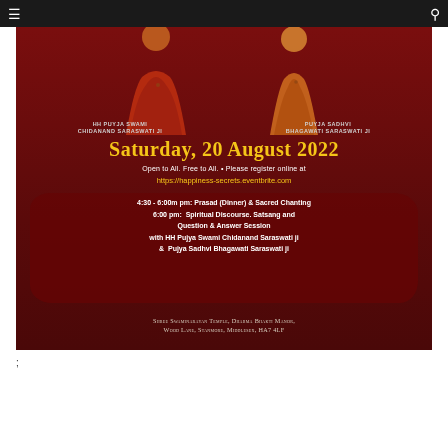≡  🔍
[Figure (photo): Event promotional flyer for Saturday, 20 August 2022 featuring HH Puyja Swami Chidanand Saraswati Ji and Puyja Sadhvi Bhagawati Saraswati Ji. Dark red background with schedule details and venue information for Shree Swaminarayan Temple, Dharma Bhakti Manor, Wood Lane, Stanmore, Middlesex, HA7 4LF. Open to All. Free to All. Register at https://happiness-secrets.eventbrite.com. Schedule: 4:30-6:00pm Prasad (Dinner) & Sacred Chanting, 6:00pm Spiritual Discourse, Satsang and Question & Answer Session.]
;